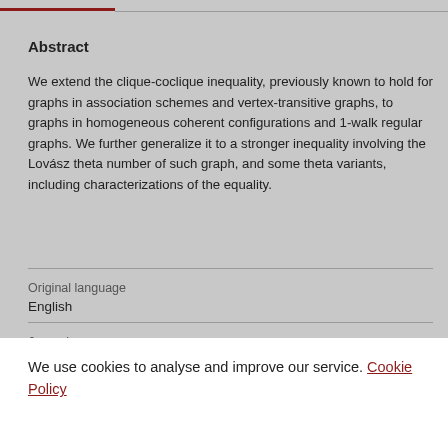Abstract
We extend the clique-coclique inequality, previously known to hold for graphs in association schemes and vertex-transitive graphs, to graphs in homogeneous coherent configurations and 1-walk regular graphs. We further generalize it to a stronger inequality involving the Lovász theta number of such graph, and some theta variants, including characterizations of the equality.
Original language
English
Journal
We use cookies to analyse and improve our service. Cookie Policy